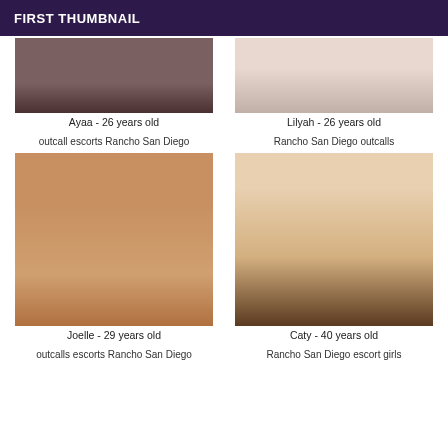FIRST THUMBNAIL
[Figure (photo): Partial photo of Ayaa]
[Figure (photo): Partial photo of Lilyah]
Ayaa - 26 years old
Lilyah - 26 years old
outcall escorts Rancho San Diego
Rancho San Diego outcalls
[Figure (photo): Photo of Joelle]
[Figure (photo): Photo of Caty]
Joelle - 29 years old
Caty - 40 years old
outcalls escorts Rancho San Diego
Rancho San Diego escort girls